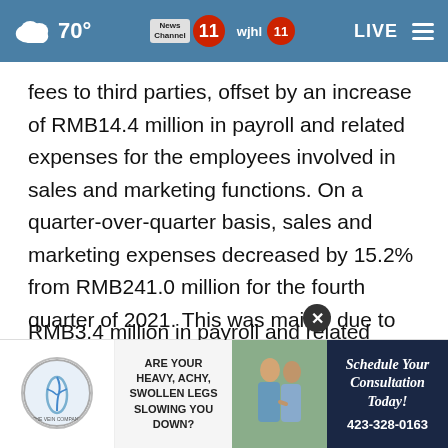70° News Channel 11 wjhl 11 LIVE
fees to third parties, offset by an increase of RMB14.4 million in payroll and related expenses for the employees involved in sales and marketing functions. On a quarter-over-quarter basis, sales and marketing expenses decreased by 15.2% from RMB241.0 million for the fourth quarter of 2021. This was mainly due to the decrease of RMB26.5 million in marketing expenses, RMB3.4 million in payroll and related
[Figure (screenshot): Advertisement overlay at bottom of page: Vein Company ad with circular logo, 'Are Your Heavy, Achy, Swollen Legs Slowing You Down?' text, photo of elderly couple, and 'Schedule Your Consultation Today! 423-328-0163' on dark blue background.]